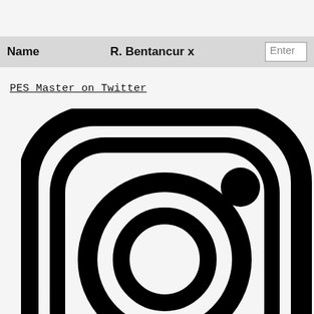Name   R. Bentancur x   Enter
PES Master on Twitter
[Figure (logo): Instagram logo icon — rounded square outline with a camera circle and dot in the upper right, rendered in black on white background, partially cropped at the bottom.]